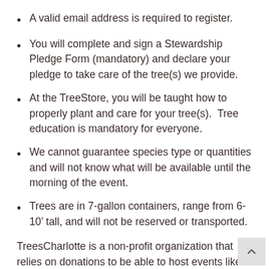A valid email address is required to register.
You will complete and sign a Stewardship Pledge Form (mandatory) and declare your pledge to take care of the tree(s) we provide.
At the TreeStore, you will be taught how to properly plant and care for your tree(s).  Tree education is mandatory for everyone.
We cannot guarantee species type or quantities and will not know what will be available until the morning of the event.
Trees are in 7-gallon containers, range from 6-10’ tall, and will not be reserved or transported.
TreesCharlotte is a non-profit organization that relies on donations to be able to host events like this.  A suggested donation of $20 is greatly appreciated and would help us continue to support Charlotte...